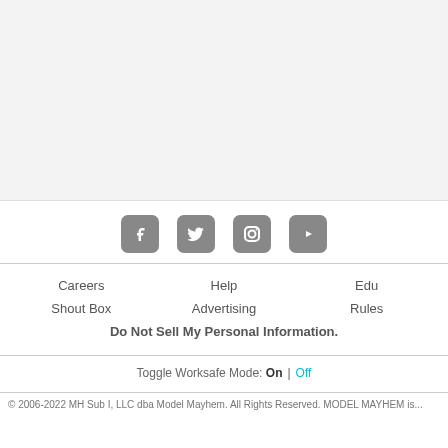[Figure (other): Social media icons: Facebook, Twitter, Instagram, YouTube]
Careers | Help | Edu | Shout Box | Advertising | Rules | Do Not Sell My Personal Information.
Toggle Worksafe Mode: On | Off
© 2006-2022 MH Sub I, LLC dba Model Mayhem. All Rights Reserved. MODEL MAYHEM is...